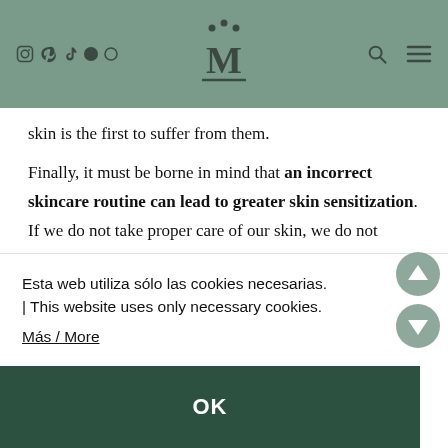Navigation header with social icons, logo, search and menu
skin is the first to suffer from them.
Finally, it must be borne in mind that an incorrect skincare routine can lead to greater skin sensitization. If we do not take proper care of our skin, we do not nourish it, or we abuse acids and other potentially irritating products, we can suffer from sensitive skin.
Esta web utiliza sólo las cookies necesarias. | This website uses only necessary cookies.
Más / More
OK